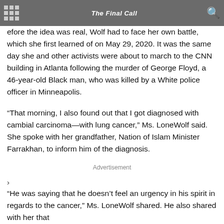The Final Call
efore the idea was real, Wolf had to face her own battle, which she first learned of on May 29, 2020. It was the same day she and other activists were about to march to the CNN building in Atlanta following the murder of George Floyd, a 46-year-old Black man, who was killed by a White police officer in Minneapolis.
“That morning, I also found out that I got diagnosed with cambial carcinoma—with lung cancer,” Ms. LoneWolf said. She spoke with her grandfather, Nation of Islam Minister Farrakhan, to inform him of the diagnosis.
Advertisement
›
“He was saying that he doesn’t feel an urgency in his spirit in regards to the cancer,” Ms. LoneWolf shared. He also shared with her that